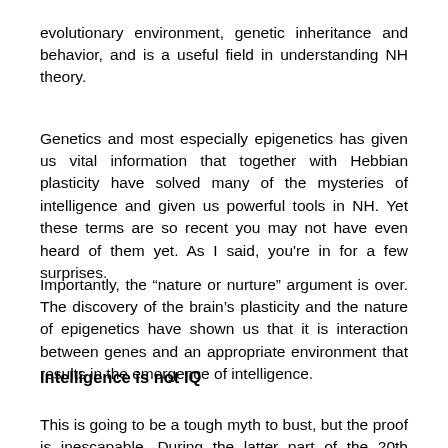evolutionary environment, genetic inheritance and behavior, and is a useful field in understanding NH theory.
Genetics and most especially epigenetics has given us vital information that together with Hebbian plasticity have solved many of the mysteries of intelligence and given us powerful tools in NH. Yet these terms are so recent you may not have even heard of them yet. As I said, you're in for a few surprises.
Importantly, the “nature or nurture” argument is over. The discovery of the brain’s plasticity and the nature of epigenetics have shown us that it is interaction between genes and an appropriate environment that results in the emergence of intelligence.
Intelligence is not IQ
This is going to be a tough myth to bust, but the proof is inescapable. During the latter part of the 20th century, neuroscientists made good progress understanding not just the gross structure of the brain but also its connectivity,